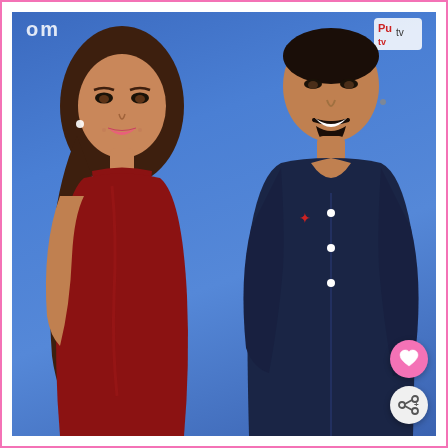[Figure (photo): A woman wearing a dark red velvet turtleneck dress with long brown hair and a man wearing a dark navy blue button-up shirt, posing together in front of a blue media backdrop with partial text logos visible. Two UI buttons visible: a pink heart button and a grey share button in the bottom right corner.]